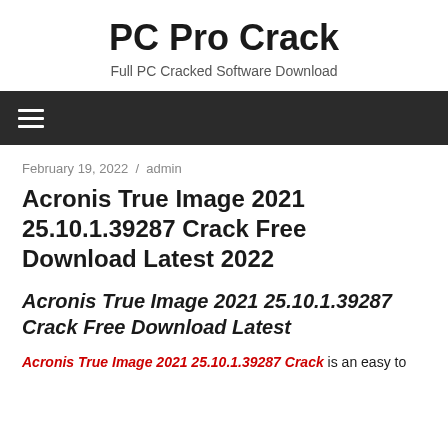PC Pro Crack
Full PC Cracked Software Download
February 19, 2022 / admin
Acronis True Image 2021 25.10.1.39287 Crack Free Download Latest 2022
Acronis True Image 2021 25.10.1.39287 Crack Free Download Latest
Acronis True Image 2021 25.10.1.39287 Crack is an easy to